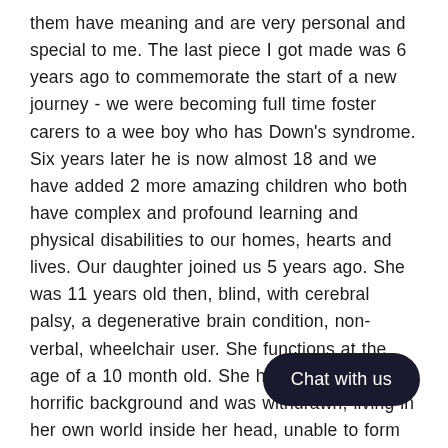them have meaning and are very personal and special to me. The last piece I got made was 6 years ago to commemorate the start of a new journey - we were becoming full time foster carers to a wee boy who has Down's syndrome. Six years later he is now almost 18 and we have added 2 more amazing children who both have complex and profound learning and physical disabilities to our homes, hearts and lives. Our daughter joined us 5 years ago. She was 11 years old then, blind, with cerebral palsy, a degenerative brain condition, non- verbal, wheelchair user. She functions at the age of a 10 month old. She had had a truly horrific background and was withdrawn, living in her own world inside her head, unable to form attachments or relationships with people. Five years later she is a cheeky, feisty, smiley, noisy light and love of our lives. The bond she has is incredible and so beautiful to see. She idolises him and he adores her. We cannot ever imagine her not being in our lives...